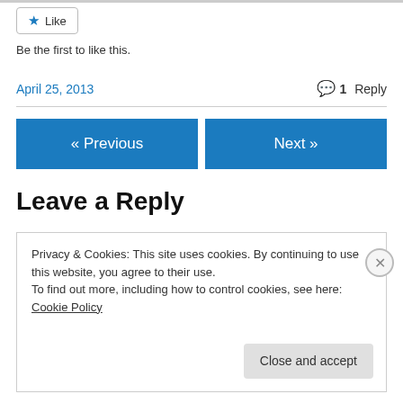[Figure (other): Like button with star icon]
Be the first to like this.
April 25, 2013
1 Reply
« Previous
Next »
Leave a Reply
Privacy & Cookies: This site uses cookies. By continuing to use this website, you agree to their use.
To find out more, including how to control cookies, see here: Cookie Policy
Close and accept